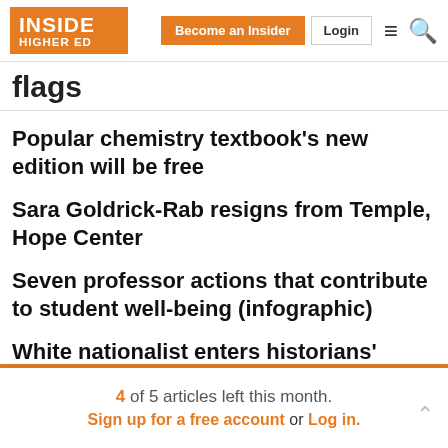INSIDE HIGHER ED | Become an Insider | Login
flags
Popular chemistry textbook's new edition will be free
Sara Goldrick-Rab resigns from Temple, Hope Center
Seven professor actions that contribute to student well-being (infographic)
White nationalist enters historians' debate on
4 of 5 articles left this month. Sign up for a free account or Log in.